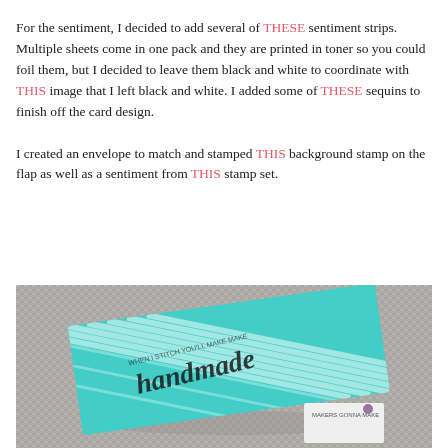For the sentiment, I decided to add several of THESE sentiment strips. Multiple sheets come in one pack and they are printed in toner so you could foil them, but I decided to leave them black and white to coordinate with THIS image that I left black and white. I added some of THESE sequins to finish off the card design.

I created an envelope to match and stamped THIS background stamp on the flap as well as a sentiment from THIS stamp set.
[Figure (photo): Photo of a teal/turquoise envelope with a geometric stripe pattern and 'handmade' script lettering in black, placed on a gray woven textile background. A small card with 'MAKERS GONNA MAKE' text is partially visible at the bottom right corner.]